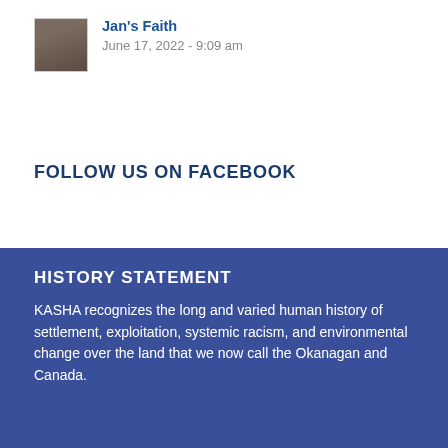Jan's Faith
June 17, 2022 - 9:09 am
FOLLOW US ON FACEBOOK
HISTORY STATEMENT
KASHA recognizes the long and varied human history of settlement, exploitation, systemic racism, and environmental change over the land that we now call the Okanagan and Canada.